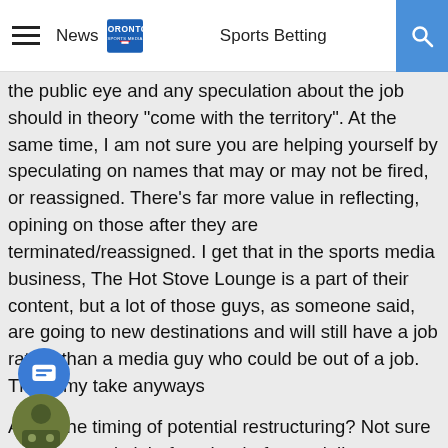News | TORONTO SPORTS MEDIA | Sports Betting
the public eye and any speculation about the job should in theory "come with the territory". At the same time, I am not sure you are helping yourself by speculating on names that may or may not be fired, or reassigned. There's far more value in reflecting, opining on those after they are terminated/reassigned. I get that in the sports media business, The Hot Stove Lounge is a part of their content, but a lot of those guys, as someone said, are going to new destinations and will still have a job rather than a media guy who could be out of a job. That's my take anyways
As for the timing of potential restructuring? Not sure you want to do it before the draft, esecially as some of those people will be working at the draft. At the same time having the Sword of Damacles hanging over your head for too long can be problematic too. I'll bail out and stay neutral on that one.